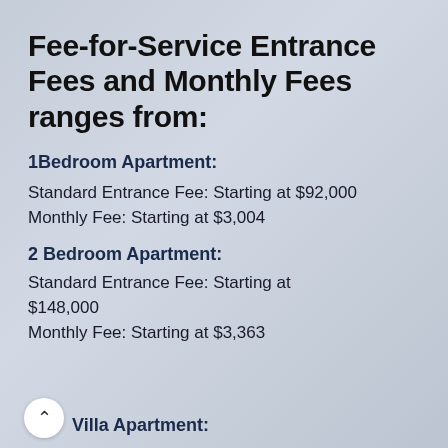Fee-for-Service Entrance Fees and Monthly Fees ranges from:
1Bedroom Apartment:
Standard Entrance Fee: Starting at $92,000
Monthly Fee: Starting at $3,004
2 Bedroom Apartment:
Standard Entrance Fee: Starting at $148,000
Monthly Fee: Starting at $3,363
Villa Apartment: